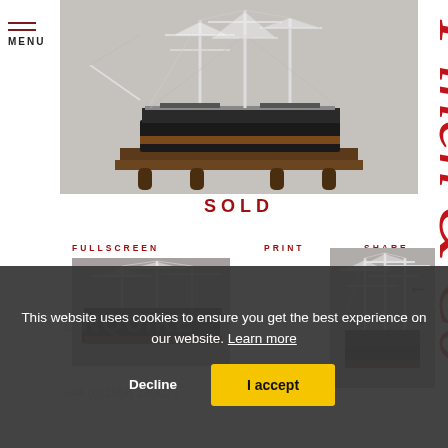[Figure (photo): Photograph of a detailed scale model of a sailing ship (clipper/merchant vessel) with masts, rigging, and sails, mounted on a wooden display stand with turned legs, photographed against a grey background.]
SOLD
FULLSCREEN
PRINT
SHARE
[Figure (photo): Close-up thumbnail of the bow section of the ship model showing masts and rigging.]
[Figure (photo): Thumbnail of the ship model showing the full hull and masts from a different angle.]
This website uses cookies to ensure you get the best experience on our website. Learn more
Decline
I accept